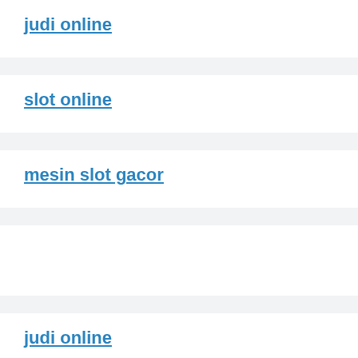judi online
slot online
mesin slot gacor
judi online